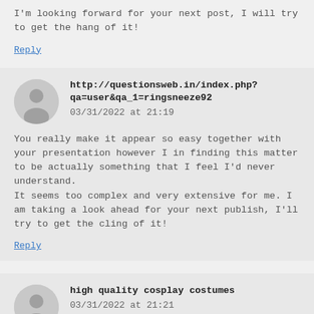I'm looking forward for your next post, I will try to get the hang of it!
Reply
http://questionsweb.in/index.php?qa=user&qa_1=ringsneeze92
03/31/2022 at 21:19
You really make it appear so easy together with your presentation however I in finding this matter to be actually something that I feel I'd never understand.
It seems too complex and very extensive for me. I am taking a look ahead for your next publish, I'll try to get the cling of it!
Reply
high quality cosplay costumes
03/31/2022 at 21:21